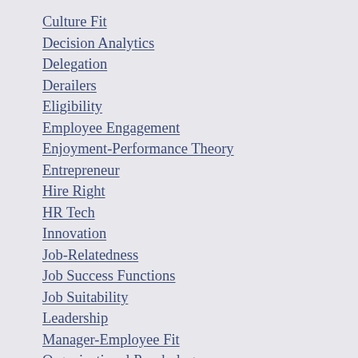Culture Fit
Decision Analytics
Delegation
Derailers
Eligibility
Employee Engagement
Enjoyment-Performance Theory
Entrepreneur
Hire Right
HR Tech
Innovation
Job-Relatedness
Job Success Functions
Job Suitability
Leadership
Manager-Employee Fit
Organizational Psychology
Paradox Report
Paradox Theory
Predictive Assessment